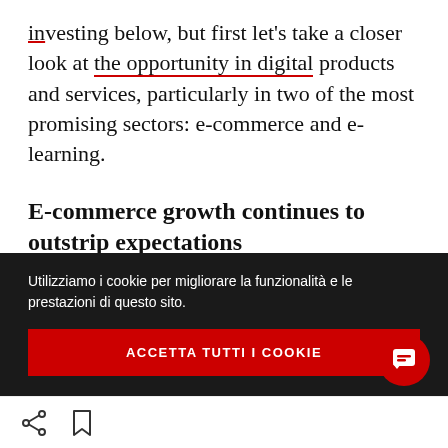investing below, but first let's take a closer look at the opportunity in digital products and services, particularly in two of the most promising sectors: e-commerce and e-learning.
E-commerce growth continues to outstrip expectations
E-commerce was flourishing throughout the
Utilizziamo i cookie per migliorare la funzionalità e le prestazioni di questo sito.
ACCETTA TUTTI I COOKIE